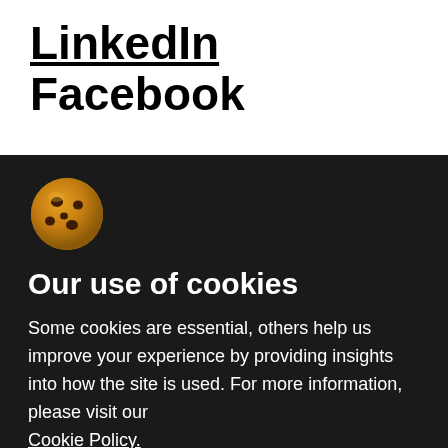LinkedIn
Facebook
[Figure (illustration): Cookie emoji icon - a round golden-brown cookie with chocolate chips]
Our use of cookies
Some cookies are essential, others help us improve your experience by providing insights into how the site is used. For more information, please visit our Cookie Policy.
Cookie Settings →
Accept All